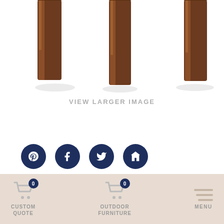[Figure (photo): Close-up photo of wooden furniture legs (dark brown/walnut stain) on white background, showing table or stool legs from below]
VIEW LARGER IMAGE
[Figure (infographic): Row of four dark navy social sharing icon buttons: Pinterest, Facebook, Twitter, and Houzz]
Specs:
22"W x 24"D x 24
How to Shop Our Website  +
[Figure (infographic): Footer navigation bar with beige background showing: Custom Quote cart icon with badge 0, Outdoor Furniture cart icon with badge 0, and Menu hamburger icon]